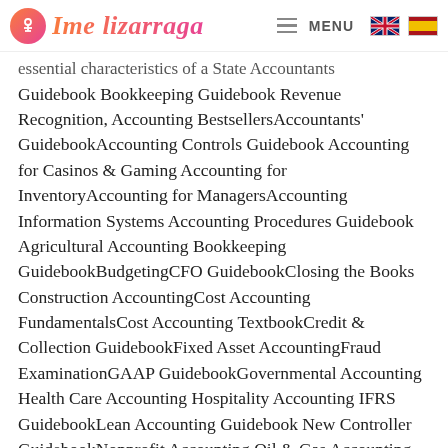Ime lizarraga — MENU
essential characteristics of a State Accountants Guidebook Bookkeeping Guidebook Revenue Recognition, Accounting BestsellersAccountants' GuidebookAccounting Controls Guidebook Accounting for Casinos & Gaming Accounting for InventoryAccounting for ManagersAccounting Information Systems Accounting Procedures Guidebook Agricultural Accounting Bookkeeping GuidebookBudgetingCFO GuidebookClosing the Books Construction AccountingCost Accounting FundamentalsCost Accounting TextbookCredit & Collection GuidebookFixed Asset AccountingFraud ExaminationGAAP GuidebookGovernmental Accounting Health Care Accounting Hospitality Accounting IFRS GuidebookLean Accounting Guidebook New Controller GuidebookNonprofit Accounting Oil & Gas Accounting Payables ManagementPayroll ManagementPublic Company Accounting Real Estate Accounting, Finance